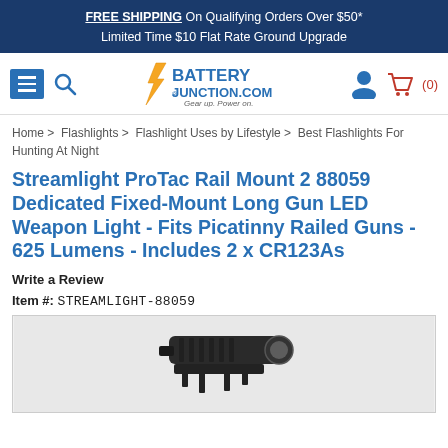FREE SHIPPING On Qualifying Orders Over $50* Limited Time $10 Flat Rate Ground Upgrade
[Figure (logo): Battery Junction.com logo with lightning bolt icon and tagline 'Gear up. Power on.']
Home > Flashlights > Flashlight Uses by Lifestyle > Best Flashlights For Hunting At Night
Streamlight ProTac Rail Mount 2 88059 Dedicated Fixed-Mount Long Gun LED Weapon Light - Fits Picatinny Railed Guns - 625 Lumens - Includes 2 x CR123As
Write a Review
Item #: STREAMLIGHT-88059
[Figure (photo): Product photo of Streamlight ProTac Rail Mount 2 flashlight on gray background, showing the black tactical flashlight with textured grip]